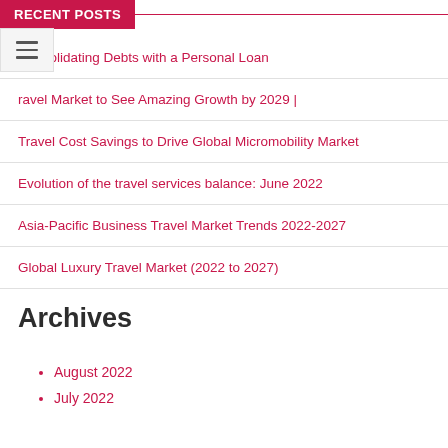RECENT POSTS
Consolidating Debts with a Personal Loan
ravel Market to See Amazing Growth by 2029 |
Travel Cost Savings to Drive Global Micromobility Market
Evolution of the travel services balance: June 2022
Asia-Pacific Business Travel Market Trends 2022-2027
Global Luxury Travel Market (2022 to 2027)
Archives
August 2022
July 2022